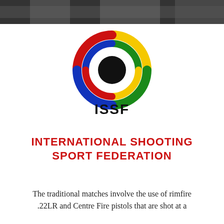[Figure (photo): Dark photo strip at top of page showing blurred shooting range or indoor scene]
[Figure (logo): ISSF logo: concentric arcs in yellow, red, green, blue forming a target with black center circle, and ISSF text below]
INTERNATIONAL SHOOTING SPORT FEDERATION
The traditional matches involve the use of rimfire .22LR and Centre Fire pistols that are shot at a